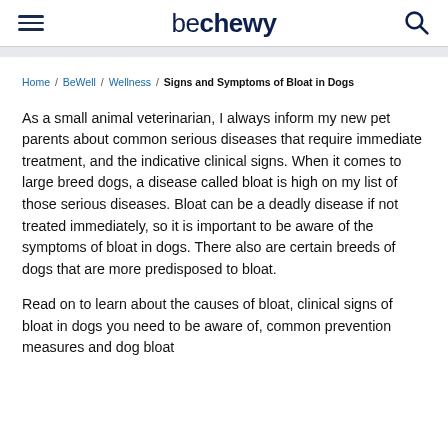be chewy
Home / BeWell / Wellness / Signs and Symptoms of Bloat in Dogs
As a small animal veterinarian, I always inform my new pet parents about common serious diseases that require immediate treatment, and the indicative clinical signs. When it comes to large breed dogs, a disease called bloat is high on my list of those serious diseases. Bloat can be a deadly disease if not treated immediately, so it is important to be aware of the symptoms of bloat in dogs. There also are certain breeds of dogs that are more predisposed to bloat.
Read on to learn about the causes of bloat, clinical signs of bloat in dogs you need to be aware of, common prevention measures and dog bloat